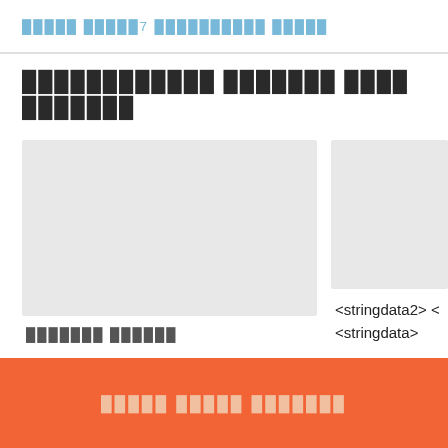█████ █████7 ██████████ █████
████████████ ███████ ████ ███████
[Figure (screenshot): Gray placeholder image card on the left]
███████ ██████
[Figure (screenshot): Gray placeholder image card on the right (partially visible)]
<stringdata2> <
<stringdata>
█████ █████ ███████